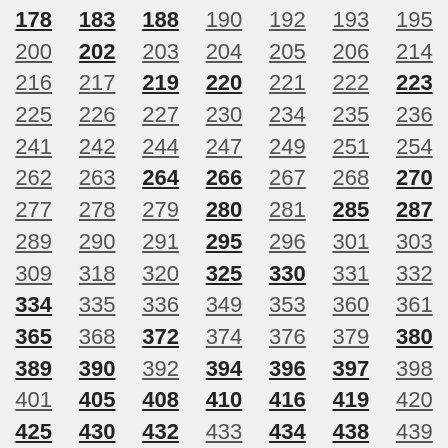178 183 188 190 192 193 195 200 202 203 204 205 206 214 216 217 219 220 221 222 223 225 226 227 230 234 235 236 241 242 244 247 249 251 254 262 263 264 266 267 268 270 277 278 279 280 281 285 287 289 290 291 295 296 301 303 309 318 320 325 330 331 332 334 335 336 349 353 360 361 365 368 372 374 376 379 380 389 390 392 394 396 397 398 401 405 408 410 416 419 420 425 430 432 433 434 438 439 444 449 451 452 453 454 455 459 461 465 468 469 470 472 483 484 485 487 488 492 493 496 499 500 501 503 505 506 510 511 513 514 515 516 519